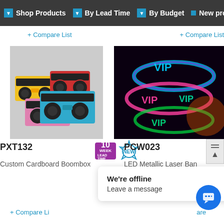Shop Products | By Lead Time | By Budget | New products
+ Compare List
+ Compare List
[Figure (photo): Colorful cardboard boombox radios stacked together on grey background]
[Figure (photo): LED metallic laser VIP wristbands glowing on dark background]
10 WEEK
NEW
PXT132
PCW023
Custom Cardboard Boombox
LED Metallic Laser Ban
+ Compare Li
are
We're offline
Leave a message